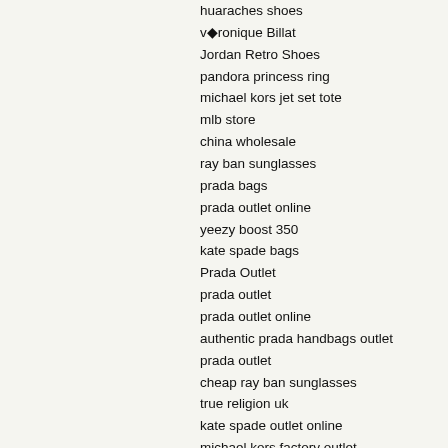huaraches shoes
v◆ronique Billat
Jordan Retro Shoes
pandora princess ring
michael kors jet set tote
mlb store
china wholesale
ray ban sunglasses
prada bags
prada outlet online
yeezy boost 350
kate spade bags
Prada Outlet
prada outlet
prada outlet online
authentic prada handbags outlet
prada outlet
cheap ray ban sunglasses
true religion uk
kate spade outlet online
michael kors factory outlet
nike outlet
louis vuitton outlet
pandora rings
coach diaper bag
michael kors us
ray ban sunglasses
michael kors uk
pandora rings
coach outlet
prada factory outlet online
kate spade outlet
mens sunglasses
true religion jeans
Mizuno Shop
nike shoes
pandora charms
Mizuno Running Shoes
nfl jerseys
canada goose jacket
timberland uk